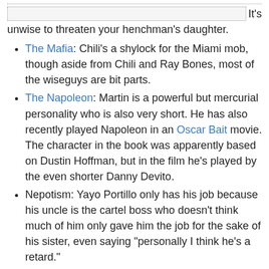It's unwise to threaten your henchman's daughter.
The Mafia: Chili's a shylock for the Miami mob, though aside from Chili and Ray Bones, most of the wiseguys are bit parts.
The Napoleon: Martin is a powerful but mercurial personality who is also very short. He has also recently played Napoleon in an Oscar Bait movie. The character in the book was apparently based on Dustin Hoffman, but in the film he's played by the even shorter Danny Devito.
Nepotism: Yayo Portillo only has his job because his uncle is the cartel boss who doesn't think much of him only gave him the job for the sake of his sister, even saying "personally I think he's a retard."
Nobody Poops: Averted. Ray Bones reads Martin Weir's book on the toilet.
Not-So-Harmless Villain: After Chili repeatedly defeats